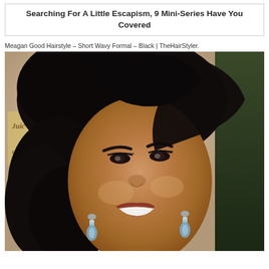Searching For A Little Escapism, 9 Mini-Series Have You Covered
Meagan Good Hairstyle – Short Wavy Formal – Black | TheHairStyler.
[Figure (photo): Photo of Meagan Good with short wavy formal black hairstyle, smiling, wearing dangling crystal earrings, in front of a Juicy Couture backdrop and green foliage.]